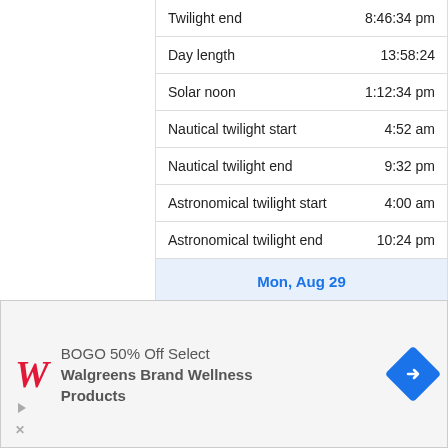| Event | Time |
| --- | --- |
| Twilight end | 8:46:34 pm |
| Day length | 13:58:24 |
| Solar noon | 1:12:34 pm |
| Nautical twilight start | 4:52 am |
| Nautical twilight end | 9:32 pm |
| Astronomical twilight start | 4:00 am |
| Astronomical twilight end | 10:24 pm |
| Mon, Aug 29 |  |
| Twilight start | 5:40:24 am |
[Figure (other): Walgreens advertisement: BOGO 50% Off Select Walgreens Brand Wellness Products with Walgreens logo and blue arrow icon]